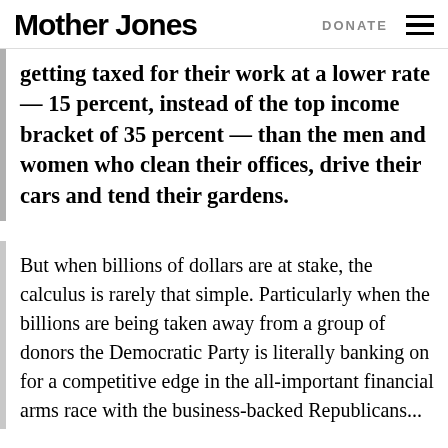Mother Jones | DONATE
getting taxed for their work at a lower rate — 15 percent, instead of the top income bracket of 35 percent — than the men and women who clean their offices, drive their cars and tend their gardens.
But when billions of dollars are at stake, the calculus is rarely that simple. Particularly when the billions are being taken away from a group of donors the Democratic Party is literally banking on for a competitive edge in the all-important financial arms race with the business-backed Republicans...